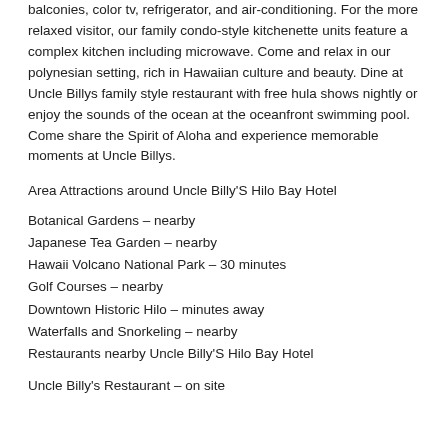balconies, color tv, refrigerator, and air-conditioning. For the more relaxed visitor, our family condo-style kitchenette units feature a complex kitchen including microwave. Come and relax in our polynesian setting, rich in Hawaiian culture and beauty. Dine at Uncle Billys family style restaurant with free hula shows nightly or enjoy the sounds of the ocean at the oceanfront swimming pool. Come share the Spirit of Aloha and experience memorable moments at Uncle Billys.
Area Attractions around Uncle Billy'S Hilo Bay Hotel
Botanical Gardens – nearby
Japanese Tea Garden – nearby
Hawaii Volcano National Park – 30 minutes
Golf Courses – nearby
Downtown Historic Hilo – minutes away
Waterfalls and Snorkeling – nearby
Restaurants nearby Uncle Billy'S Hilo Bay Hotel
Uncle Billy's Restaurant – on site